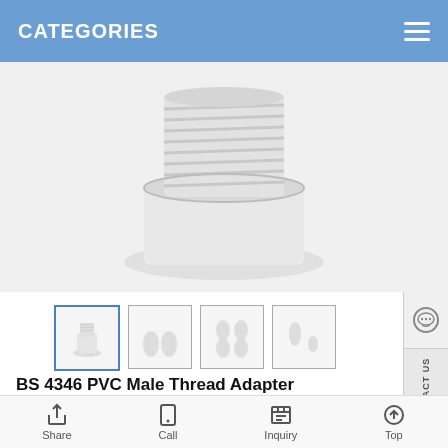CATEGORIES
[Figure (photo): White PVC male thread adapter fitting, showing threaded top section and smooth lower base, photographed on white background]
[Figure (photo): Four thumbnail images of the BS 4346 PVC Male Thread Adapter from different angles]
BS 4346 PVC Male Thread Adapter
Lead time: 30 days around
MOQ: 5ctns
Package: Cartons Box
Share  Call  Inquiry  Top